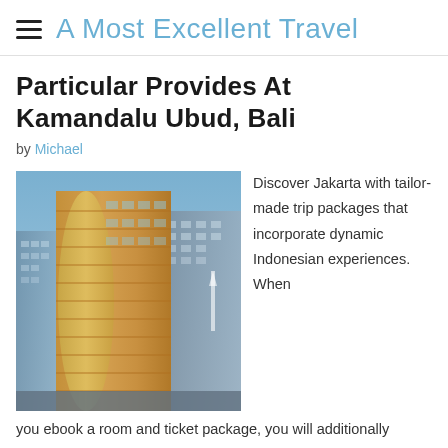A Most Excellent Travel
Particular Provides At Kamandalu Ubud, Bali
by Michael
[Figure (photo): Photo of a modern glass and metal high-rise building illuminated at dusk against a blue sky, with other buildings visible in the background.]
Discover Jakarta with tailor-made trip packages that incorporate dynamic Indonesian experiences. When you ebook a room and ticket package, you will additionally obtain Magical Extras , a wide range of reductions and choices on dining, leisure, shopping and more. However I also sometimes found that I acquired a